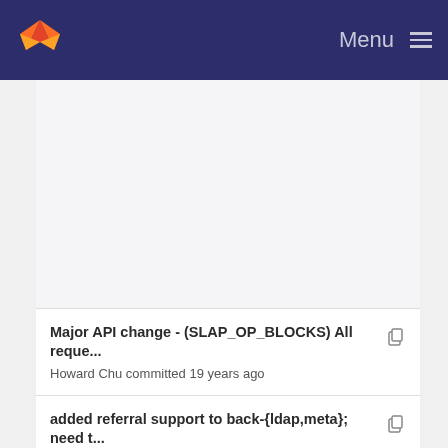Menu
Major API change - (SLAP_OP_BLOCKS) All reque...
Howard Chu committed 19 years ago
added referral support to back-{ldap,meta}; need t...
Pierangelo Masarati committed 19 years ago
Major API change - (SLAP_OP_BLOCKS) All reque...
Howard Chu committed 19 years ago
added referral support to back-{ldap,meta}; need t...
Pierangelo Masarati committed 19 years ago
Major API change - (SLAP_OP_BLOCKS) All reque...
Howard Chu committed 19 years ago